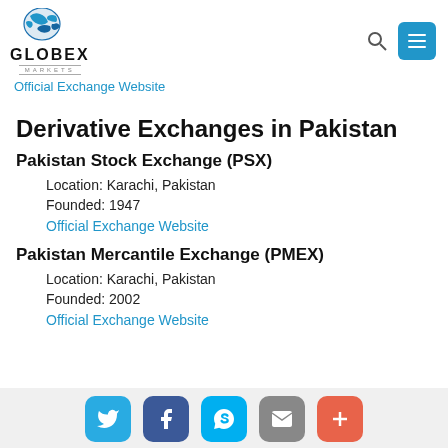GLOBEX MARKETS
Official Exchange Website
Derivative Exchanges in Pakistan
Pakistan Stock Exchange (PSX)
Location: Karachi, Pakistan
Founded: 1947
Official Exchange Website
Pakistan Mercantile Exchange (PMEX)
Location: Karachi, Pakistan
Founded: 2002
Official Exchange Website